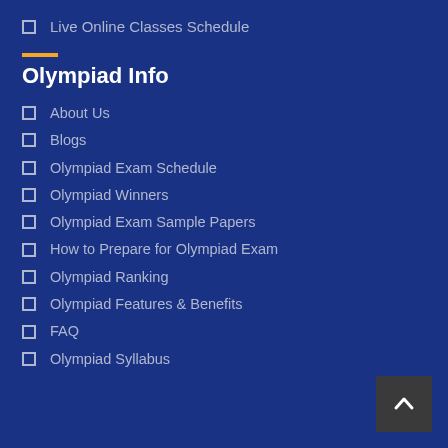Live Online Classes Schedule
Olympiad Info
About Us
Blogs
Olympiad Exam Schedule
Olympiad Winners
Olympiad Exam Sample Papers
How to Prepare for Olympiad Exam
Olympiad Ranking
Olympiad Features & Benefits
FAQ
Olympiad Syllabus